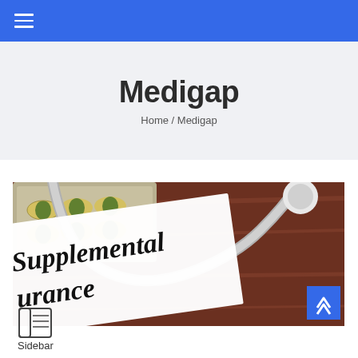≡ (navigation menu)
Medigap
Home / Medigap
[Figure (photo): Photo showing a stethoscope and blister packs of pills on a wooden surface, with a white card in the foreground displaying the words 'Supplemental Insurance' in bold italic text.]
Sidebar